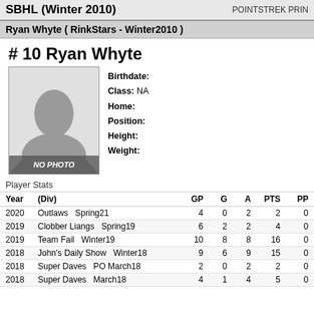SBHL (Winter 2010)   POINTSTREK PRIN
Ryan Whyte ( RinkStars - Winter2010 )
# 10 Ryan Whyte
[Figure (photo): Placeholder silhouette photo with NO PHOTO label]
Birthdate:
Class: NA
Home:
Position:
Height:
Weight:
Player Stats
| Year | (Div) | GP | G | A | PTS | PP |
| --- | --- | --- | --- | --- | --- | --- |
| 2020 | Outlaws   Spring21 | 4 | 0 | 2 | 2 | 0 |
| 2019 | Clobber Liangs   Spring19 | 6 | 2 | 2 | 4 | 0 |
| 2019 | Team Fail   Winter19 | 10 | 8 | 8 | 16 | 0 |
| 2018 | John's Daily Show   Winter18 | 9 | 6 | 9 | 15 | 0 |
| 2018 | Super Daves   PO March18 | 2 | 0 | 2 | 2 | 0 |
| 2018 | Super Daves   March18 | 4 | 1 | 4 | 5 | 0 |